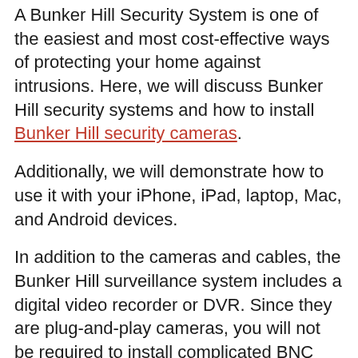A Bunker Hill Security System is one of the easiest and most cost-effective ways of protecting your home against intrusions. Here, we will discuss Bunker Hill security systems and how to install Bunker Hill security cameras.
Additionally, we will demonstrate how to use it with your iPhone, iPad, laptop, Mac, and Android devices.
In addition to the cameras and cables, the Bunker Hill surveillance system includes a digital video recorder or DVR. Since they are plug-and-play cameras, you will not be required to install complicated BNC connectors as you would need with other camera systems.
You will need to measure the distance from the security camera to the DVR if necessary and purchase additional cables if needed as Bunker